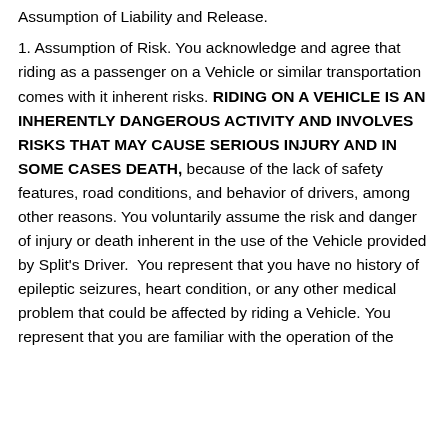Assumption of Liability and Release.
1. Assumption of Risk. You acknowledge and agree that riding as a passenger on a Vehicle or similar transportation comes with it inherent risks. RIDING ON A VEHICLE IS AN INHERENTLY DANGEROUS ACTIVITY AND INVOLVES RISKS THAT MAY CAUSE SERIOUS INJURY AND IN SOME CASES DEATH, because of the lack of safety features, road conditions, and behavior of drivers, among other reasons. You voluntarily assume the risk and danger of injury or death inherent in the use of the Vehicle provided by Split's Driver.  You represent that you have no history of epileptic seizures, heart condition, or any other medical problem that could be affected by riding a Vehicle. You represent that you are familiar with the operation of the